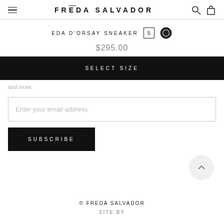FRĒDA SALVADOR
EDA D'ORSAY SNEAKER  5  ●
$295.00
SELECT SIZE
and more.
Enter your email address
SUBSCRIBE
© FREDA SALVADOR  SITE BY